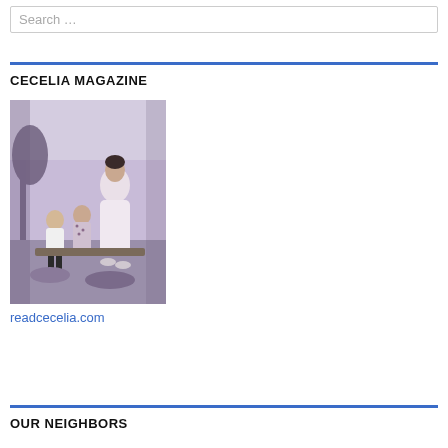Search …
CECELIA MAGAZINE
[Figure (photo): Vintage black and white photo with purple tint showing a woman in a white dress sitting with two young children outdoors]
readcecelia.com
OUR NEIGHBORS